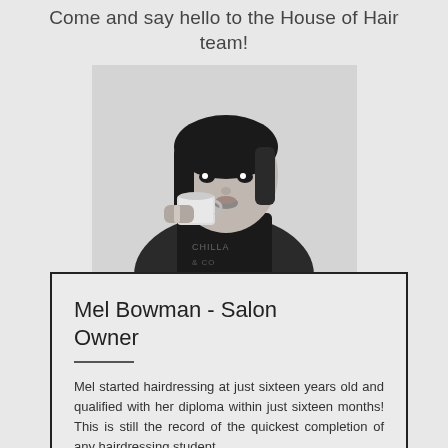Come and say hello to the House of Hair team!
[Figure (photo): Black and white photo of a woman wearing an apron, drinking from a cup]
Mel Bowman - Salon Owner
Mel started hairdressing at just sixteen years old and qualified with her diploma within just sixteen months! This is still the record of the quickest completion of any hairdressing student